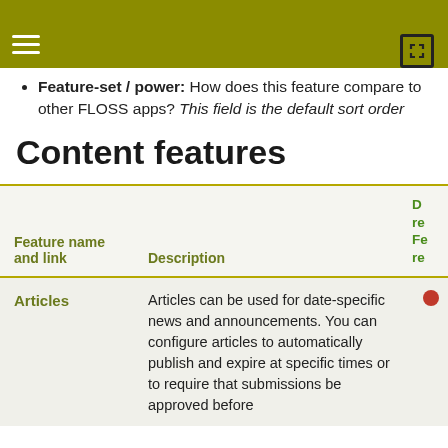the end-user? (was it worth it?)
Feature-set / power: How does this feature compare to other FLOSS apps? This field is the default sort order
Content features
| Feature name and link | Description | D re Fe re |
| --- | --- | --- |
| Articles | Articles can be used for date-specific news and announcements. You can configure articles to automatically publish and expire at specific times or to require that submissions be approved before | ● |